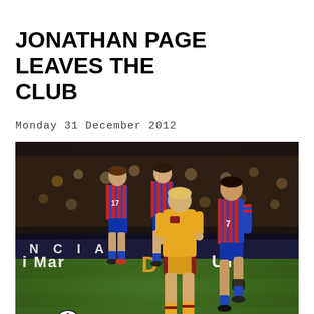JONATHAN PAGE LEAVES THE CLUB
Monday 31 December 2012
[Figure (photo): A football match scene at night under floodlights. A player in a yellow/amber kit is running with the ball on a green pitch. Behind him are two players in blue and red striped kits (numbers 17 and 7). Advertising boards in the background read 'NCIA' and 'i Mar...UT'. A football is visible at bottom left.]